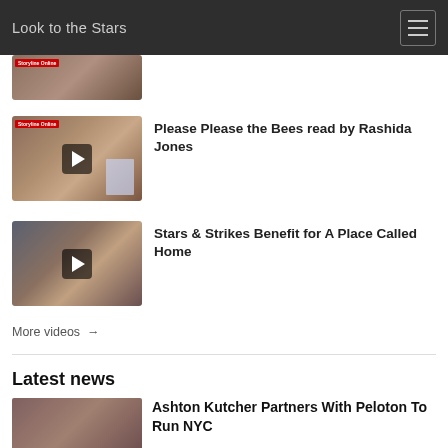Look to the Stars
[Figure (screenshot): Partially visible video thumbnail with Storyline Online badge, cropped at top]
[Figure (screenshot): Video thumbnail for 'Please Please the Bees read by Rashida Jones' showing a woman reading a book, with play button overlay and Storyline Online badge]
Please Please the Bees read by Rashida Jones
[Figure (screenshot): Video thumbnail for 'Stars & Strikes Benefit for A Place Called Home' showing people at an event, with play button overlay]
Stars & Strikes Benefit for A Place Called Home
More videos →
Latest news
[Figure (screenshot): Partially visible news thumbnail showing a person, cropped at bottom]
Ashton Kutcher Partners With Peloton To Run NYC